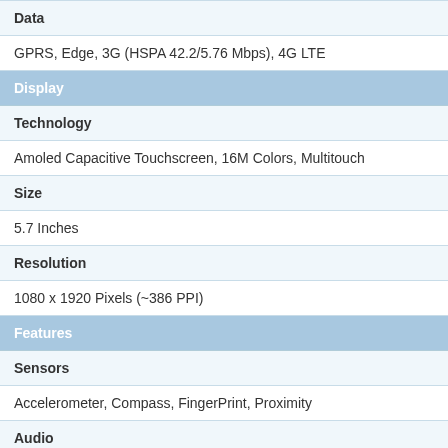| Data |
| GPRS, Edge, 3G (HSPA 42.2/5.76 Mbps), 4G LTE |
| Display |
| Technology |
| Amoled Capacitive Touchscreen, 16M Colors, Multitouch |
| Size |
| 5.7 Inches |
| Resolution |
| 1080 x 1920 Pixels (~386 PPI) |
| Features |
| Sensors |
| Accelerometer, Compass, FingerPrint, Proximity |
| Audio |
| 3.5mm Audio Jack, MP4/H.264 player, MP3/WAV/FLAC/eAAC+ player, Speaker Phone |
| Browser |
| HTML5 |
| Messaging |